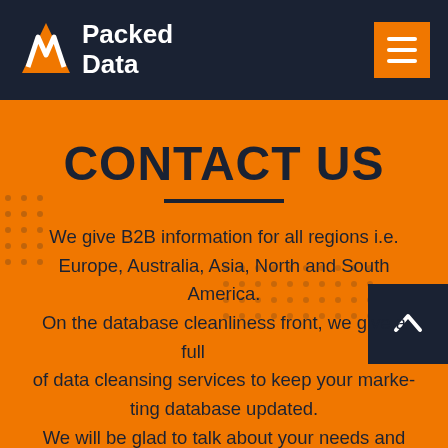Packed Data
CONTACT US
We give B2B information for all regions i.e. Europe, Australia, Asia, North and South America. On the database cleanliness front, we give a full of data cleansing services to keep your marketing database updated. We will be glad to talk about your needs and offer a most suitable and cost effective deal. Please reach out